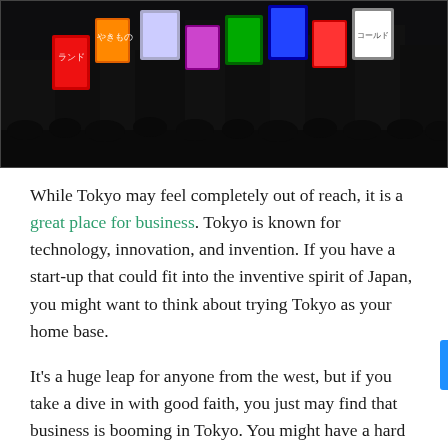[Figure (photo): Night street scene in Tokyo with colorful neon signs in Japanese, crowded with silhouettes of people]
While Tokyo may feel completely out of reach, it is a great place for business. Tokyo is known for technology, innovation, and invention. If you have a start-up that could fit into the inventive spirit of Japan, you might want to think about trying Tokyo as your home base.
It's a huge leap for anyone from the west, but if you take a dive in with good faith, you just may find that business is booming in Tokyo. You might have a hard time with a brick-and-mortar business—don't try to make Japanese food—but if you have an idea, you think the Japanese will love, why not give it a shot?